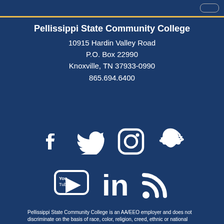Pellissippi State Community College
10915 Hardin Valley Road
P.O. Box 22990
Knoxville, TN 37933-0990
865.694.6400
[Figure (infographic): Social media icons in two rows: Facebook, Twitter, Instagram, Snapchat (top row); YouTube, LinkedIn, RSS feed (bottom row) — all white on dark blue background]
Pellissippi State Community College is an AA/EEO employer and does not discriminate on the basis of race, color, religion, creed, ethnic or national origin, sex, sexual orientation, gender identity/expression, disability, age